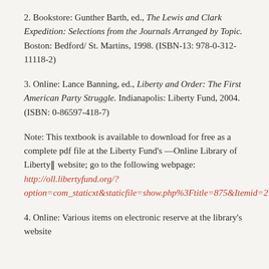2. Bookstore: Gunther Barth, ed., The Lewis and Clark Expedition: Selections from the Journals Arranged by Topic. Boston: Bedford/ St. Martins, 1998. (ISBN-13: 978-0-312-11118-2)
3. Online: Lance Banning, ed., Liberty and Order: The First American Party Struggle. Indianapolis: Liberty Fund, 2004. (ISBN: 0-86597-418-7)
Note: This textbook is available to download for free as a complete pdf file at the Liberty Fund's —Online Library of Liberty‖ website; go to the following webpage: http://oll.libertyfund.org/?option=com_staticxt&staticfile=show.php%3Ftitle=875&Itemid=27
4. Online: Various items on electronic reserve at the library's website